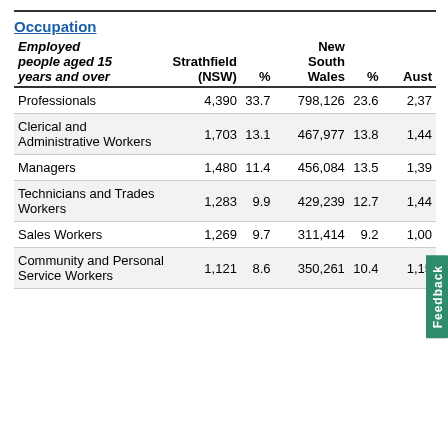Occupation
| Employed people aged 15 years and over | Strathfield (NSW) | % | New South Wales | % | Aust |
| --- | --- | --- | --- | --- | --- |
| Professionals | 4,390 | 33.7 | 798,126 | 23.6 | 2,37 |
| Clerical and Administrative Workers | 1,703 | 13.1 | 467,977 | 13.8 | 1,44 |
| Managers | 1,480 | 11.4 | 456,084 | 13.5 | 1,39 |
| Technicians and Trades Workers | 1,283 | 9.9 | 429,239 | 12.7 | 1,44 |
| Sales Workers | 1,269 | 9.7 | 311,414 | 9.2 | 1,00 |
| Community and Personal Service Workers | 1,121 | 8.6 | 350,261 | 10.4 | 1,15 |